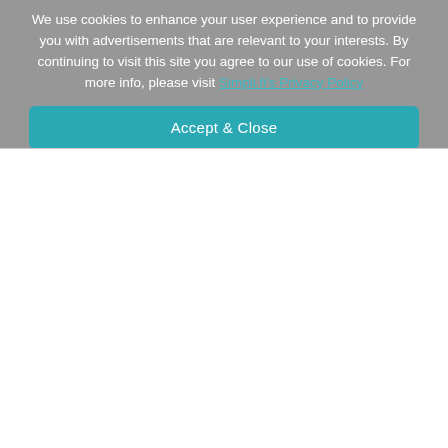We use cookies to enhance your user experience and to provide you with advertisements that are relevant to your interests. By continuing to visit this site you agree to our use of cookies. For more info, please visit Simpli.fi's Privacy Policy
Accept & Close